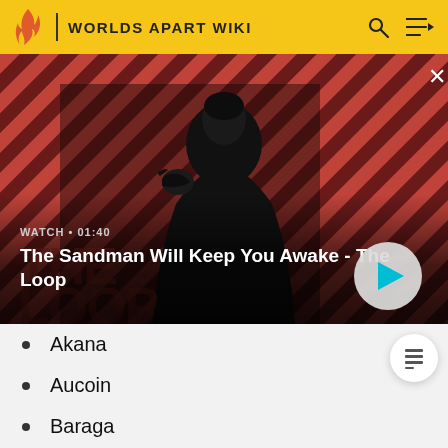WORLDS APART WIKI
[Figure (screenshot): Video thumbnail showing a dark figure with a raven on their shoulder against a red diagonal-striped background. Overlay text reads 'WATCH · 01:40' and 'The Sandman Will Keep You Awake - The Loop' with a play button.]
Akana
Aucoin
Baraga
Mesaba
Polaris
Principia